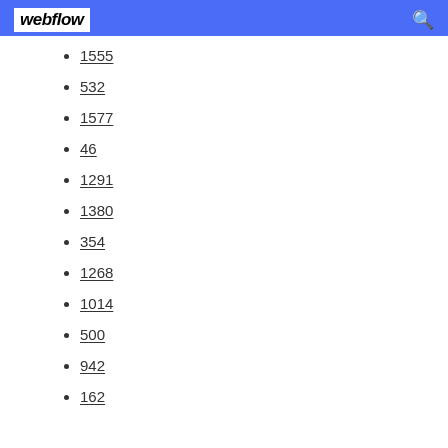webflow
1555
532
1577
46
1291
1380
354
1268
1014
500
942
162